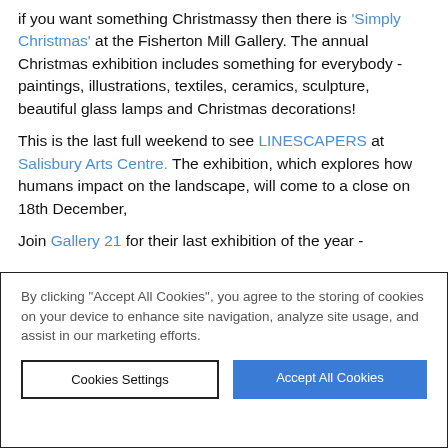if you want something Christmassy then there is 'Simply Christmas' at the Fisherton Mill Gallery. The annual Christmas exhibition includes something for everybody - paintings, illustrations, textiles, ceramics, sculpture, beautiful glass lamps and Christmas decorations!
This is the last full weekend to see LINESCAPERS at Salisbury Arts Centre. The exhibition, which explores how humans impact on the landscape, will come to a close on 18th December,
Join Gallery 21 for their last exhibition of the year -
By clicking “Accept All Cookies”, you agree to the storing of cookies on your device to enhance site navigation, analyze site usage, and assist in our marketing efforts.
Cookies Settings
Accept All Cookies